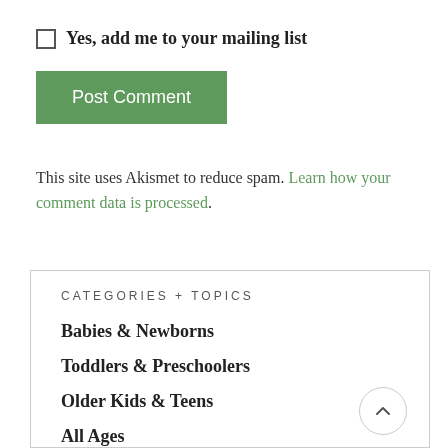Yes, add me to your mailing list
Post Comment
This site uses Akismet to reduce spam. Learn how your comment data is processed.
CATEGORIES + TOPICS
Babies & Newborns
Toddlers & Preschoolers
Older Kids & Teens
All Ages